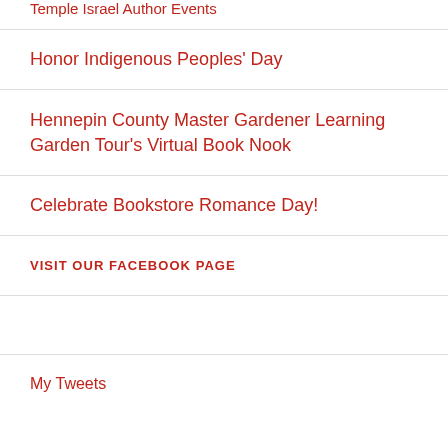Temple Israel Author Events
Honor Indigenous Peoples' Day
Hennepin County Master Gardener Learning Garden Tour's Virtual Book Nook
Celebrate Bookstore Romance Day!
VISIT OUR FACEBOOK PAGE
My Tweets